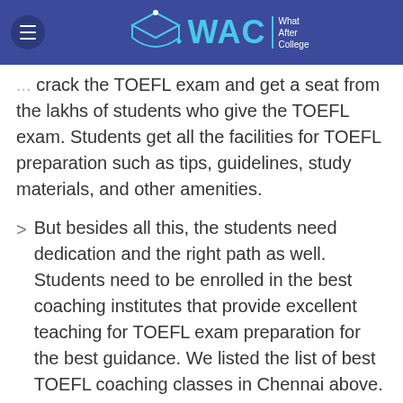WAC | What After College
crack the TOEFL exam and get a seat from the lakhs of students who give the TOEFL exam. Students get all the facilities for TOEFL preparation such as tips, guidelines, study materials, and other amenities.
But besides all this, the students need dedication and the right path as well. Students need to be enrolled in the best coaching institutes that provide excellent teaching for TOEFL exam preparation for the best guidance. We listed the list of best TOEFL coaching classes in Chennai above. All you have to do now is make it the right selection for you. For more details, you can visit the TOEFL... given contact number.